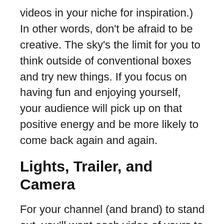videos in your niche for inspiration.) In other words, don't be afraid to be creative. The sky's the limit for you to think outside of conventional boxes and try new things. If you focus on having fun and enjoying yourself, your audience will pick up on that positive energy and be more likely to come back again and again.
Lights, Trailer, and Camera
For your channel (and brand) to stand out, you'll want each video of yours to be